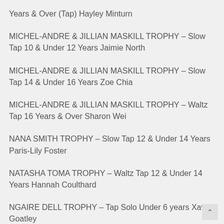Years & Over (Tap) Hayley Minturn
MICHEL-ANDRE & JILLIAN MASKILL TROPHY – Slow Tap 10 & Under 12 Years Jaimie North
MICHEL-ANDRE & JILLIAN MASKILL TROPHY – Slow Tap 14 & Under 16 Years Zoe Chia
MICHEL-ANDRE & JILLIAN MASKILL TROPHY – Waltz Tap 16 Years & Over Sharon Wei
NANA SMITH TROPHY – Slow Tap 12 & Under 14 Years Paris-Lily Foster
NATASHA TOMA TROPHY – Waltz Tap 12 & Under 14 Years Hannah Coulthard
NGAIRE DELL TROPHY – Tap Solo Under 6 years Xavier Goatley
NIKKI DONALD TROPHY – Latin/Tango Tap 16 Years & Over